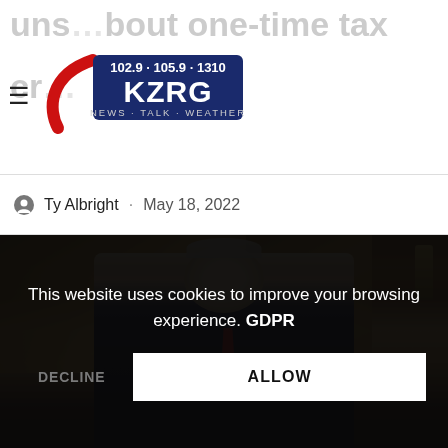KZRG 102.9 · 105.9 · 1310 NEWS · TALK · WEATHER
uns…bout one-time tax cr…
Ty Albright · May 18, 2022
[Figure (photo): Man in dark suit with red tie speaking, seated in front of ornate wooden doors and windows in a formal setting]
This website uses cookies to improve your browsing experience. GDPR